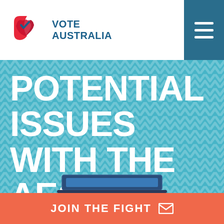[Figure (logo): Vote Australia logo with red boomerang/shield icon and blue checkmark]
POTENTIAL ISSUES WITH THE AEC
[Figure (screenshot): Partial laptop screen visible at bottom of hero section]
JOIN THE FIGHT